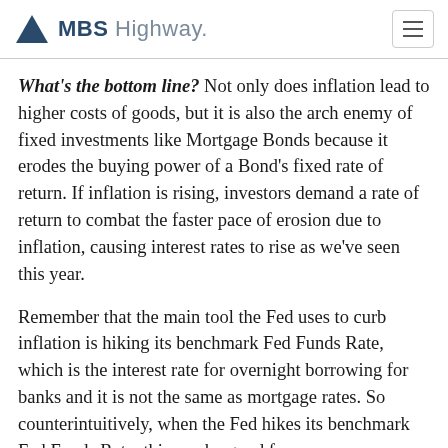MBS Highway.
What's the bottom line? Not only does inflation lead to higher costs of goods, but it is also the arch enemy of fixed investments like Mortgage Bonds because it erodes the buying power of a Bond's fixed rate of return. If inflation is rising, investors demand a rate of return to combat the faster pace of erosion due to inflation, causing interest rates to rise as we've seen this year.
Remember that the main tool the Fed uses to curb inflation is hiking its benchmark Fed Funds Rate, which is the interest rate for overnight borrowing for banks and it is not the same as mortgage rates. So counterintuitively, when the Fed hikes its benchmark Fed Funds Rate, this can be good for